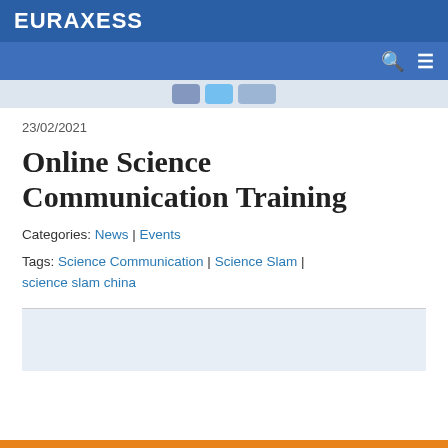EURAXESS
23/02/2021
Online Science Communication Training
Categories: News | Events
Tags: Science Communication | Science Slam | science slam china